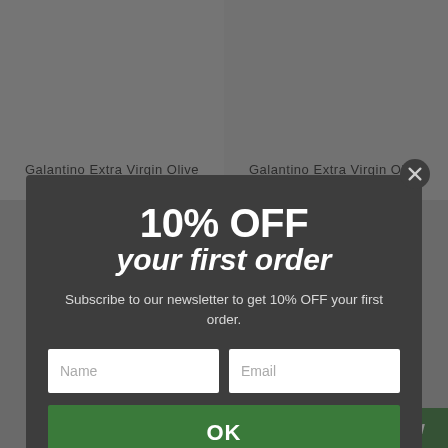Galantino Extra Virgin Olive Oil Organic Monet (50cl)
Galantino Extra Virgin Olive Oil Frantoio Medium Fruity
10% OFF
your first order
Subscribe to our newsletter to get 10% OFF your first order.
OK